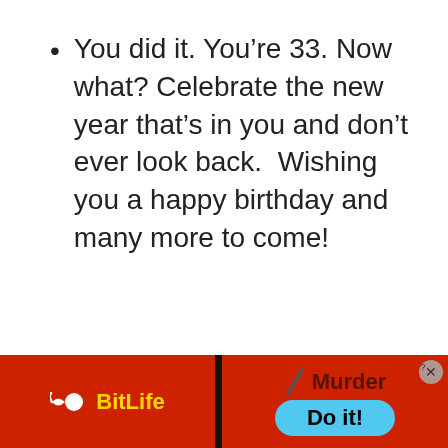You did it. You’re 33. Now what? Celebrate the new year that’s in you and don’t ever look back. Wishing you a happy birthday and many more to come!
[Figure (screenshot): BitLife app advertisement banner at the bottom of the screen showing the BitLife logo on a red background on the left, and a 'Murder / Do it!' button on the right with a close button in the corner.]